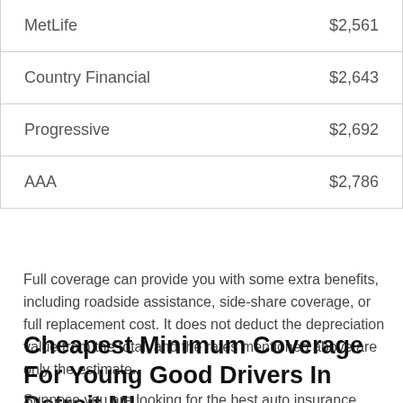| MetLife | $2,561 |
| Country Financial | $2,643 |
| Progressive | $2,692 |
| AAA | $2,786 |
Full coverage can provide you with some extra benefits, including roadside assistance, side-share coverage, or full replacement cost. It does not deduct the depreciation value from the total, and the rates mentioned above are only the estimate.
Cheapest Minimum Coverage For Young Good Drivers In Detroit MI
Suppose you are looking for the best auto insurance companies in Detroit MI as a young driver. You should know about the